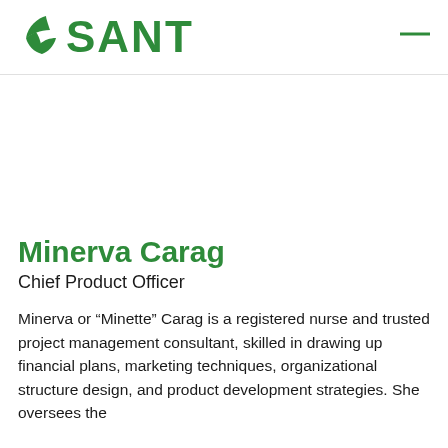[Figure (logo): Sante brand logo in green with leaf icon and bold SANTE text]
Minerva Carag
Chief Product Officer
Minerva or “Minette” Carag is a registered nurse and trusted project management consultant, skilled in drawing up financial plans, marketing techniques, organizational structure design, and product development strategies. She oversees the...